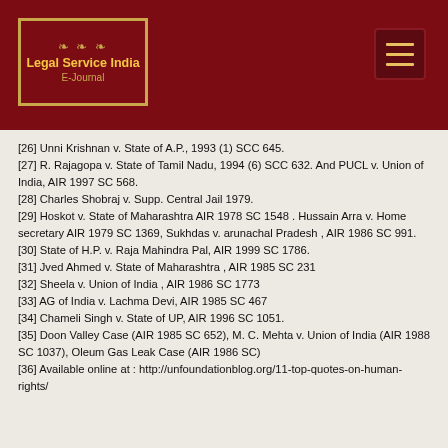Legal Service India E-Journal
[26] Unni Krishnan v. State of A.P., 1993 (1) SCC 645.
[27] R. Rajagopa v. State of Tamil Nadu, 1994 (6) SCC 632. And PUCL v. Union of India, AIR 1997 SC 568.
[28] Charles Shobraj v. Supp. Central Jail 1979.
[29] Hoskot v. State of Maharashtra AIR 1978 SC 1548 . Hussain Arra v. Home secretary AIR 1979 SC 1369, Sukhdas v. arunachal Pradesh , AIR 1986 SC 991.
[30] State of H.P. v. Raja Mahindra Pal, AIR 1999 SC 1786.
[31] Jved Ahmed v. State of Maharashtra , AIR 1985 SC 231
[32] Sheela v. Union of India , AIR 1986 SC 1773
[33] AG of India v. Lachma Devi, AIR 1985 SC 467
[34] Chameli Singh v. State of UP, AIR 1996 SC 1051.
[35] Doon Valley Case (AIR 1985 SC 652), M. C. Mehta v. Union of India (AIR 1988 SC 1037), Oleum Gas Leak Case (AIR 1986 SC)
[36] Available online at : http://unfoundationblog.org/11-top-quotes-on-human-rights/